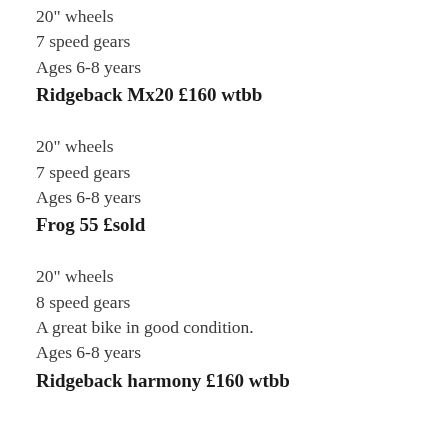20" wheels
7 speed gears
Ages 6-8 years
Ridgeback Mx20 £160 wtbb
20" wheels
7 speed gears
Ages 6-8 years
Frog 55 £sold
20" wheels
8 speed gears
A great bike in good condition.
Ages 6-8 years
Ridgeback harmony £160 wtbb